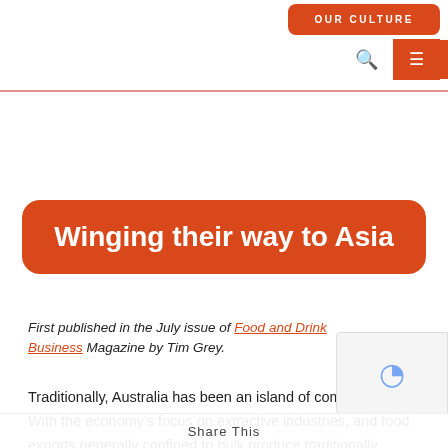OUR CULTURE
Winging their way to Asia
First published in the July issue of Food and Drink Business Magazine by Tim Grey.
Traditionally, Australia has been an island of commodities. With the economy's focus on extractive industries, and food exports generally confined to bulk produce traditionally value-added products have often been...